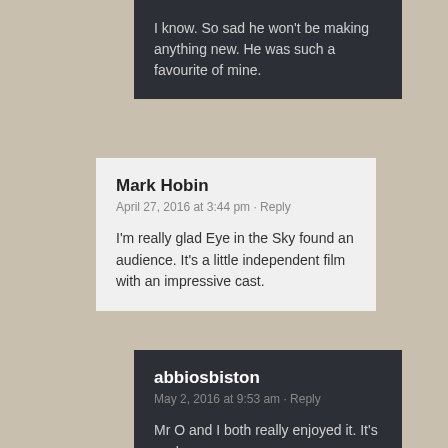I know. So sad he won't be making anything new. He was such a favourite of mine.
Mark Hobin
April 27, 2016 at 3:44 pm · Reply
I'm really glad Eye in the Sky found an audience. It's a little independent film with an impressive cast.
abbiosbiston
May 2, 2016 at 9:53 am · Reply
Mr O and I both really enjoyed it. It's such a